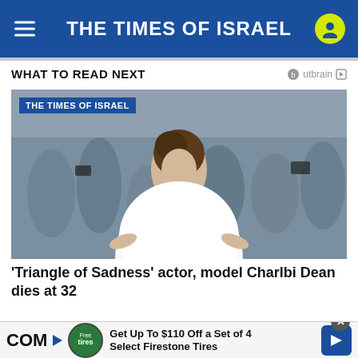THE TIMES OF ISRAEL
WHAT TO READ NEXT
[Figure (photo): Woman in white dress at Cannes photocall surrounded by photographers, with 'THE TIMES OF ISRAEL' badge overlay]
‘Triangle of Sadness’ actor, model Charlbi Dean dies at 32
COM Get Up To $110 Off a Set of 4 Select Firestone Tires